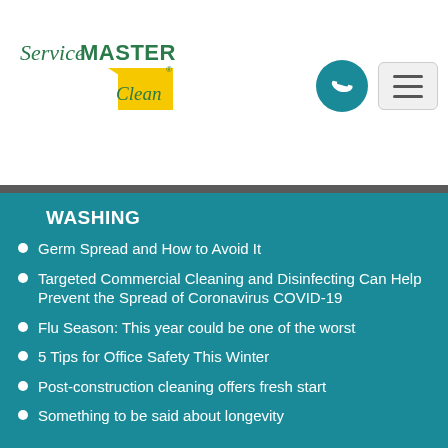[Figure (logo): ServiceMaster Clean logo with green text and yellow triangle]
[Figure (other): Phone icon button (teal circle) and hamburger menu button]
WASHING
Germ Spread and How to Avoid It
Targeted Commercial Cleaning and Disinfecting Can Help Prevent the Spread of Coronavirus COVID-19
Flu Season: This year could be one of the worst
5 Tips for Office Safety This Winter
Post-construction cleaning offers fresh start
Something to be said about longevity